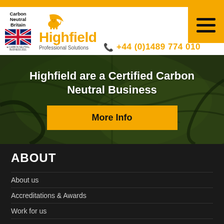[Figure (logo): Carbon Neutral Britain certification logo with UK flag]
[Figure (logo): Highfield Professional Solutions logo with lion icon and amber text]
[Figure (other): Hamburger menu icon (three horizontal bars) on amber background]
+44 (0)1489 774 010
Highfield are a Certified Carbon Neutral Business
More Info
ABOUT
About us
Accreditations & Awards
Work for us